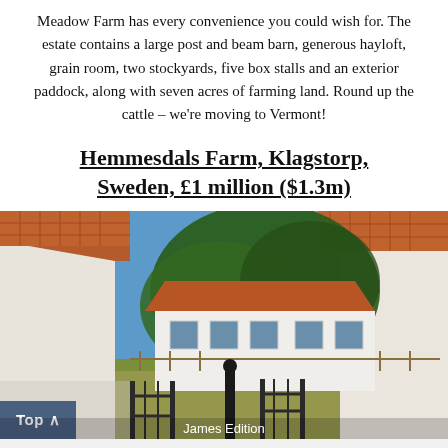Meadow Farm has every convenience you could wish for. The estate contains a large post and beam barn, generous hayloft, grain room, two stockyards, five box stalls and an exterior paddock, along with seven acres of farming land. Round up the cattle – we're moving to Vermont!
Hemmesdals Farm, Klagstorp, Sweden, £1 million ($1.3m)
[Figure (photo): Exterior photo of Hemmesdals Farm in Klagstorp, Sweden. View through a gateway framed by white-walled structures with red terracotta tile roofs on both sides. In the center, a white farmhouse with a red tile roof is visible behind a large leafy tree, set against a bright blue sky with green lawn in the foreground. Iron gate visible in the foreground.]
James Edition